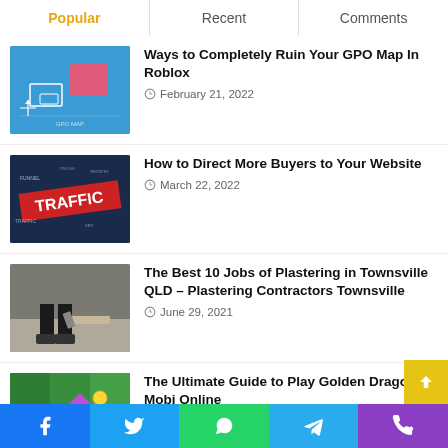Popular | Recent | Comments
Ways to Completely Ruin Your GPO Map In Roblox — February 21, 2022
How to Direct More Buyers to Your Website — March 22, 2022
The Best 10 Jobs of Plastering in Townsville QLD – Plastering Contractors Townsville — June 29, 2021
The Ultimate Guide to Play Golden Dragon Mobi Online — February 21, 2022
Facebook | Twitter | WhatsApp | Telegram | Phone